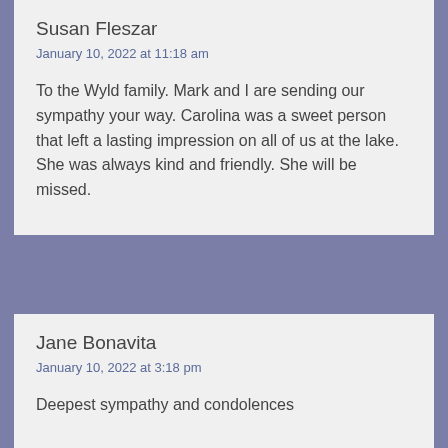Susan Fleszar
January 10, 2022 at 11:18 am
To the Wyld family. Mark and I are sending our sympathy your way. Carolina was a sweet person that left a lasting impression on all of us at the lake. She was always kind and friendly. She will be missed.
Jane Bonavita
January 10, 2022 at 3:18 pm
Deepest sympathy and condolences